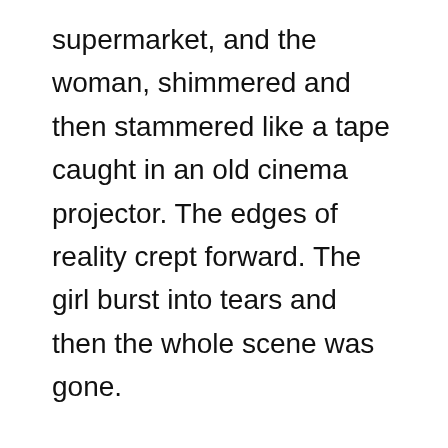supermarket, and the woman, shimmered and then stammered like a tape caught in an old cinema projector. The edges of reality crept forward. The girl burst into tears and then the whole scene was gone.
I was back in my kitchen. The kettle clicked off as it finished boiling. The radio was on. It was Radio Four talking to a man about a petition.
I stood there for a while. Not knowing what to do. After a few more coffees I got my shit together and got dressed for work. It was some kind of mad dream. It could never happen. The people...